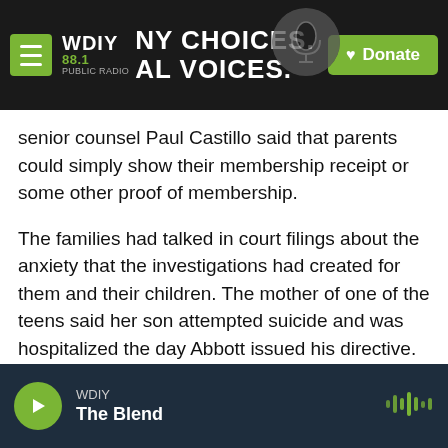WDIY 88.1 — NY CHOICES. LOCAL VOICES. | Donate
senior counsel Paul Castillo said that parents could simply show their membership receipt or some other proof of membership.
The families had talked in court filings about the anxiety that the investigations had created for them and their children. The mother of one of the teens said her son attempted suicide and was hospitalized the day Abbott issued his directive. The outpatient psychiatric facility where the teen was referred reported the family for child abuse after learning he had been prescribed hormone therapy, she said in a court filing.
WDIY — The Blend